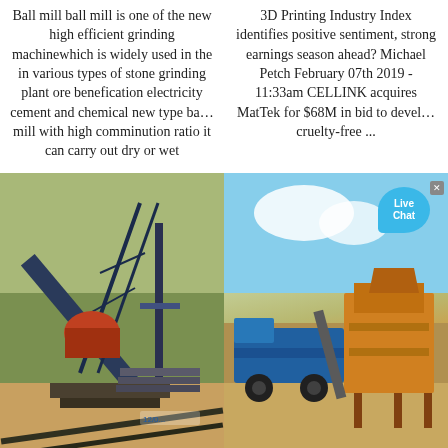Ball mill ball mill is one of the new high efficient grinding machinewhich is widely used in the in various types of stone grinding plant ore benefication electricity cement and chemical new type ba… mill with high comminution ratio it can carry out dry or wet
3D Printing Industry Index identifies positive sentiment, strong earnings season ahead? Michael Petch February 07th 2019 - 11:33am CELLINK acquires MatTek for $68M in bid to devel… cruelty-free ...
[Figure (photo): Industrial ball mill or screening machine with conveyor belts and steel framework at a mining/quarry site]
[Figure (photo): Mobile impact crusher or screening plant with yellow/blue machinery at a quarry or mining site, with Live Chat bubble overlay]
Microstructural evolution of...
Small Impact Crusher Pla... In Malasia...